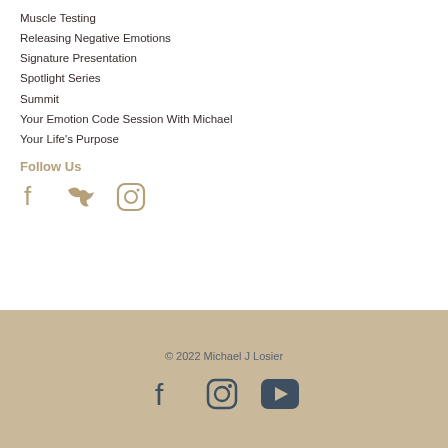Muscle Testing
Releasing Negative Emotions
Signature Presentation
Spotlight Series
Summit
Your Emotion Code Session With Michael
Your Life's Purpose
Follow Us
[Figure (infographic): Social media icons: Facebook, Twitter, Instagram (tan/gold colored)]
© 2022 Michael J Losier
[Figure (infographic): Social media icons: Facebook, Instagram, YouTube (dark navy colored) in beige/tan footer bar]